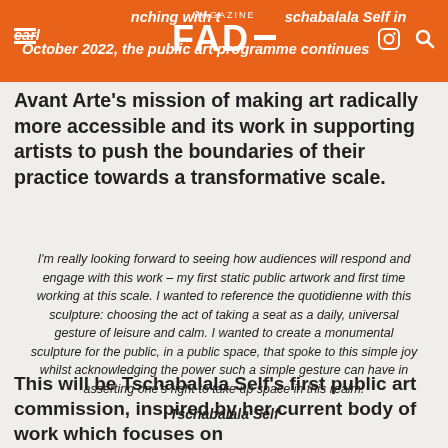FAD magazine — Launching with Tschabalala Self in early October 2022, the public art programme continues
Avant Arte's mission of making art radically more accessible and its work in supporting artists to push the boundaries of their practice towards a transformative scale.
I'm really looking forward to seeing how audiences will respond and engage with this work – my first static public artwork and first time working at this scale. I wanted to reference the quotidienne with this sculpture: choosing the act of taking a seat as a daily, universal gesture of leisure and calm. I wanted to create a monumental sculpture for the public, in a public space, that spoke to this simple joy whilst acknowledging the power such a simple gesture can have in asserting one's right to take up space in this realm.

Tschabalala Self
This will be Tschabalala Self's first public art commission, inspired by her current body of work which focuses on